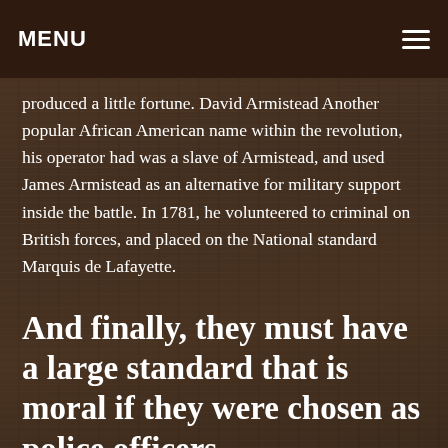MENU
produced a little fortune. David Armistead Another popular African American name within the revolution, his operator had was a slave of Armistead, and used James Armistead as an alternative for military support inside the battle. In 1781, he volunteered to criminal on British forces, and placed on the National standard Marquis de Lafayette.
And finally, they must have a large standard that is moral if they were chosen as police officers.
He was acknowledged and routed into the area, where he began showing the Americans about British